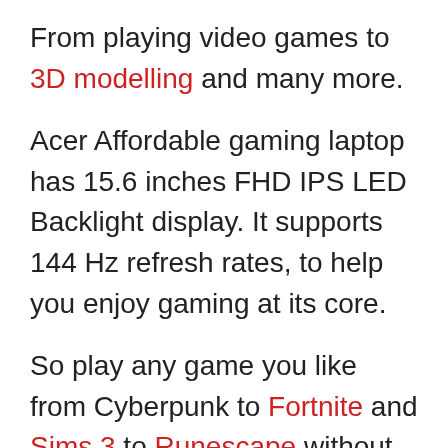From playing video games to 3D modelling and many more.
Acer Affordable gaming laptop has 15.6 inches FHD IPS LED Backlight display. It supports 144 Hz refresh rates, to help you enjoy gaming at its core.
So play any game you like from Cyberpunk to Fortnite and Sims 3 to Runescape without zero lagging issues.
This laptop comes with 16GB RAM and 512GB SSD storage. Furthermore, it has